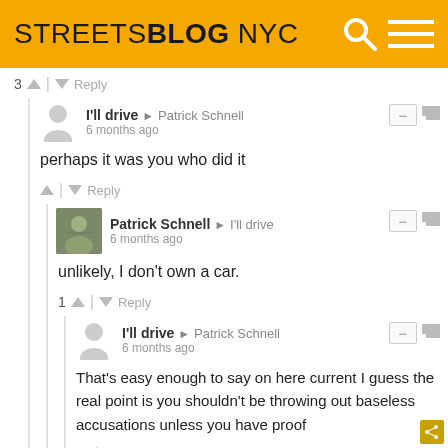[Figure (logo): Streetsblog NYC logo on yellow/amber header background with search and hamburger menu icons]
3 ^ | v Reply
I'll drive → Patrick Schnell
6 months ago
perhaps it was you who did it
^ | v Reply
Patrick Schnell → I'll drive
6 months ago
unlikely, I don't own a car.
1 ^ | v Reply
I'll drive → Patrick Schnell
6 months ago
That's easy enough to say on here current I guess the real point is you shouldn't be throwing out baseless accusations unless you have proof
^ | v Reply